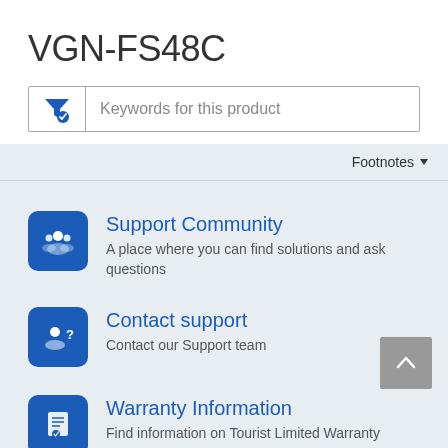VGN-FS48C
[Figure (screenshot): Search/filter input box with a blue funnel filter icon on the left and placeholder text 'Keywords for this product']
Footnotes ▾
[Figure (infographic): Support Community icon - blue rounded square with white people/group icon]
Support Community
A place where you can find solutions and ask questions
[Figure (infographic): Contact support icon - blue rounded square with white person with question mark icon]
Contact support
Contact our Support team
[Figure (infographic): Warranty Information icon - blue rounded square with white certificate/document icon]
Warranty Information
Find information on Tourist Limited Warranty